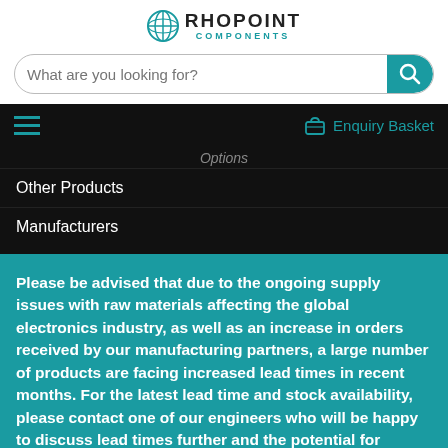[Figure (logo): Rhopoint Components logo with teal globe icon and text RHOPOINT COMPONENTS]
What are you looking for?
Enquiry Basket
Options
Other Products
Manufacturers
Please be advised that due to the ongoing supply issues with raw materials affecting the global electronics industry, as well as an increase in orders received by our manufacturing partners, a large number of products are facing increased lead times in recent months. For the latest lead time and stock availability, please contact one of our engineers who will be happy to discuss lead times further and the potential for alternative parts.
Contact us
Close